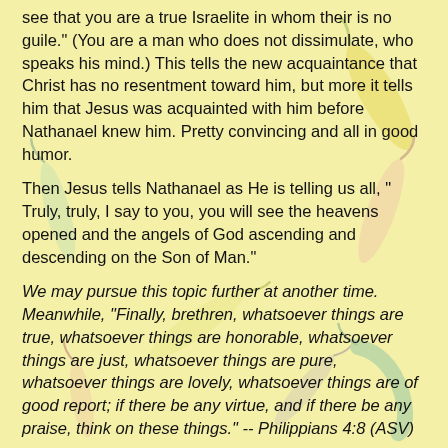see that you are a true Israelite in whom their is no guile." (You are a man who does not dissimulate, who speaks his mind.)  This tells the new acquaintance that Christ has no resentment toward him, but more it tells him that Jesus was acquainted with him before Nathanael knew him.  Pretty convincing and all in good humor.
Then Jesus tells Nathanael as He is telling us all, " Truly, truly, I say to you, you will see the heavens opened and the angels of God ascending and descending on the Son of Man."
We may pursue this topic further at another time. Meanwhile, "Finally, brethren, whatsoever things are true, whatsoever things are honorable, whatsoever things are just, whatsoever things are pure, whatsoever things are lovely, whatsoever things are of good report; if there be any virtue, and if there be any praise, think on these things."  -- Philippians 4:8 (ASV)
vanilla at 4:00 AM    2 comments: